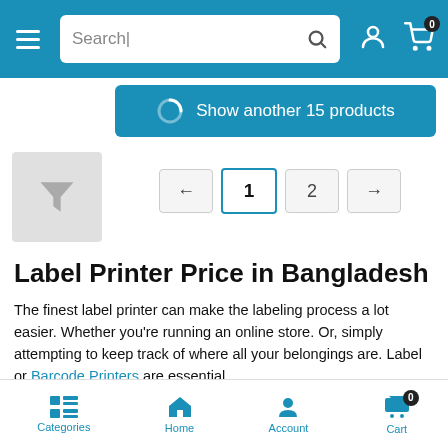[Figure (screenshot): Mobile e-commerce website navigation bar with hamburger menu, search box, user icon, and cart icon with 0 badge on teal/blue background]
[Figure (screenshot): Teal button showing loading spinner and text 'Show another 15 products']
[Figure (screenshot): Gray filter/funnel button on left side]
[Figure (screenshot): Pagination controls: left arrow, page 1 (active), page 2, right arrow]
Label Printer Price in Bangladesh
The finest label printer can make the labeling process a lot easier. Whether you're running an online store. Or, simply attempting to keep track of where all your belongings are. Label or Barcode Printers are essential.
Sometimes Label printers are often far more efficient than all-in-one inkjet printers. If you are looking for the best inkjet or Inktank printer, you can check out the HP printer in Bangladesh.
Considering the price, label quality, or volume. There are many different types and levels of label printers available everywhere. The
[Figure (screenshot): Bottom navigation bar with Categories, Home, Account, Cart (with 0 badge) icons in teal]